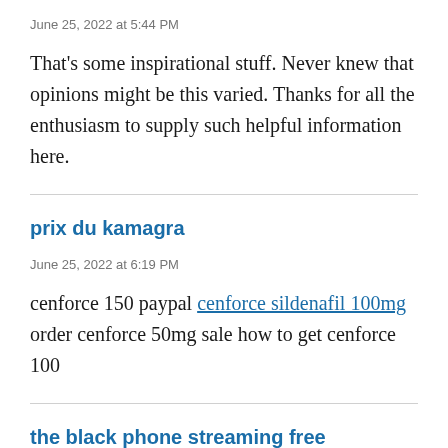June 25, 2022 at 5:44 PM
That's some inspirational stuff. Never knew that opinions might be this varied. Thanks for all the enthusiasm to supply such helpful information here.
prix du kamagra
June 25, 2022 at 6:19 PM
cenforce 150 paypal cenforce sildenafil 100mg order cenforce 50mg sale how to get cenforce 100
the black phone streaming free